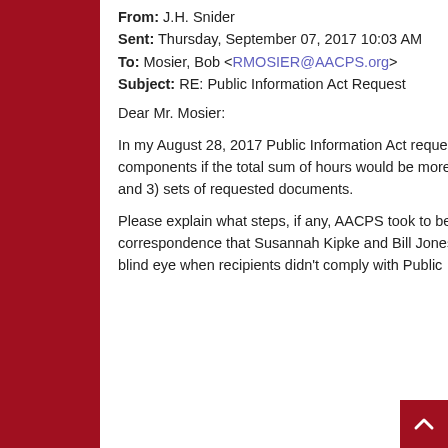From: J.H. Snider
Sent: Thursday, September 07, 2017 10:03 AM
To: Mosier, Bob <RMOSIER@AACPS.org>
Subject: RE: Public Information Act Request
Dear Mr. Mosier:
In my August 28, 2017 Public Information Act request, I specifically asked that the cost be broken down into three time components if the total sum of hours would be more than two hours. Please provide separate time requests for the 1), 2), and 3) sets of requested documents.
Please explain what steps, if any, AACPS took to be assured of receiving all the requested emails for official SBAC correspondence that Susannah Kipke and Bill Jones sent via their private email systems. In the past, AACPS has turned a blind eye when recipients didn't comply with Public